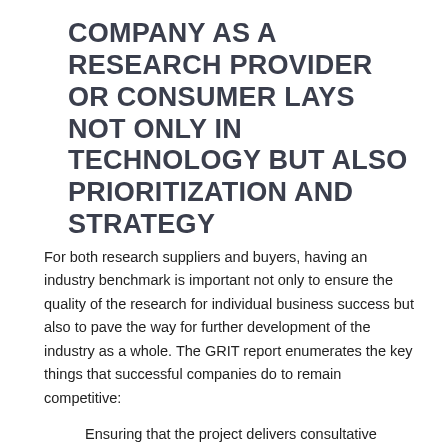COMPANY AS A RESEARCH PROVIDER OR CONSUMER LAYS NOT ONLY IN TECHNOLOGY BUT ALSO PRIORITIZATION AND STRATEGY
For both research suppliers and buyers, having an industry benchmark is important not only to ensure the quality of the research for individual business success but also to pave the way for further development of the industry as a whole. The GRIT report enumerates the key things that successful companies do to remain competitive:
Ensuring that the project delivers consultative